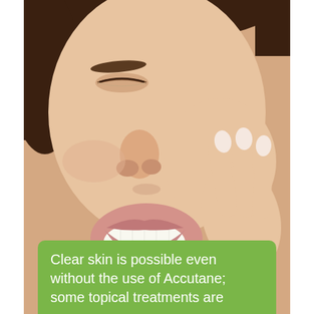[Figure (photo): Close-up photo of a smiling young woman with clear skin, eyes partially closed, touching her cheek with her fingers. The image is cropped to show mainly her face and hand against a light background.]
Clear skin is possible even without the use of Accutane; some topical treatments are